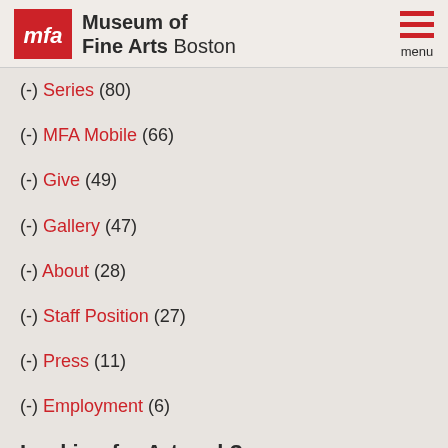Museum of Fine Arts Boston — menu
(-) Series (80)
(-) MFA Mobile (66)
(-) Give (49)
(-) Gallery (47)
(-) About (28)
(-) Staff Position (27)
(-) Press (11)
(-) Employment (6)
Looking for Artwork?
Please use our Collections Search to complete or